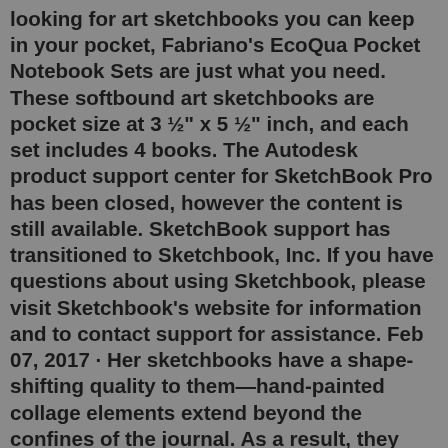looking for art sketchbooks you can keep in your pocket, Fabriano's EcoQua Pocket Notebook Sets are just what you need. These softbound art sketchbooks are pocket size at 3 ½" x 5 ½" inch, and each set includes 4 books. The Autodesk product support center for SketchBook Pro has been closed, however the content is still available. SketchBook support has transitioned to Sketchbook, Inc. If you have questions about using Sketchbook, please visit Sketchbook's website for information and to contact support for assistance. Feb 07, 2017 · Her sketchbooks have a shape-shifting quality to them—hand-painted collage elements extend beyond the confines of the journal. As a result, they unfold into long vertical pieces—something you'd never expect. Check out the different ways that artists create beautiful sketchbooks. Jan 25, 2018 · Try dividing your sketchbook page into frames for a smaller focus area. Image courtesy of Noel Rivera. 6. Divide the Page. If having an entire blank page to work on feels too expansive, try breaking down the page into smaller shapes you can draw